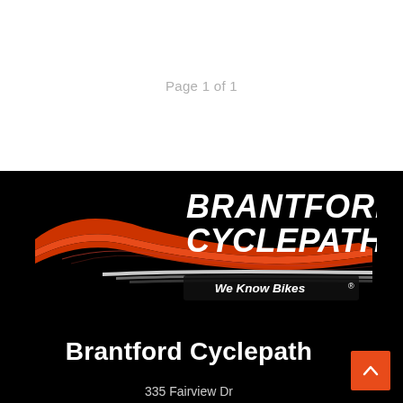Page 1 of 1
[Figure (logo): Brantford Cyclepath logo on black background. Features the text BRANTFORD CYCLEPATH.ca in bold white italic font above a red and white swoosh/speed-stripe graphic. Below the swoosh: 'We Know Bikes' with a registered trademark symbol.]
Brantford Cyclepath
335 Fairview Dr